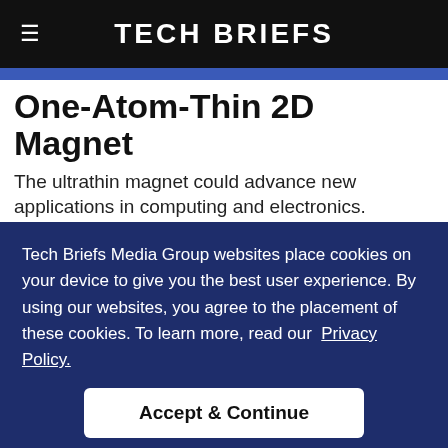Tech Briefs
One-Atom-Thin 2D Magnet
The ultrathin magnet could advance new applications in computing and electronics.
[Figure (illustration): Illustration of a one-atom-thin 2D magnet atomic structure showing Co (red) and O (teal) atoms connected in a chain with yellow sulfur-like atoms]
Tech Briefs Media Group websites place cookies on your device to give you the best user experience. By using our websites, you agree to the placement of these cookies. To learn more, read our Privacy Policy.
Accept & Continue
Illustration of the one-atom-thin 2D magnet. Background